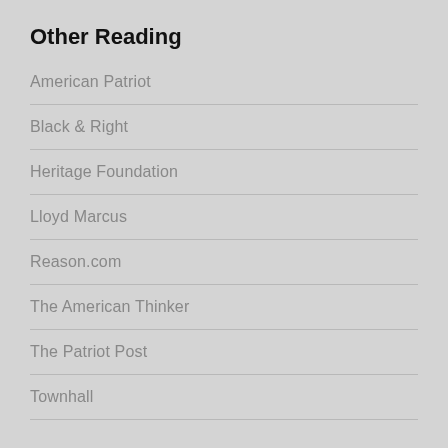Other Reading
American Patriot
Black & Right
Heritage Foundation
Lloyd Marcus
Reason.com
The American Thinker
The Patriot Post
Townhall
The Founding
Federalist Papers